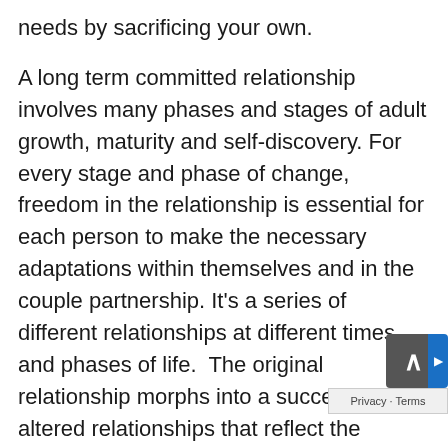needs by sacrificing your own.
A long term committed relationship involves many phases and stages of adult growth, maturity and self-discovery. For every stage and phase of change, freedom in the relationship is essential for each person to make the necessary adaptations within themselves and in the couple partnership. It's a series of different relationships at different times and phases of life.  The original relationship morphs into a succession of altered relationships that reflect the growth and development both adults make. If one partner feels too threatened by allowing freedom in the relationship then it is bound to crack – affairs are common and reveal crisis points in the relationship where growth and development w… stifled.